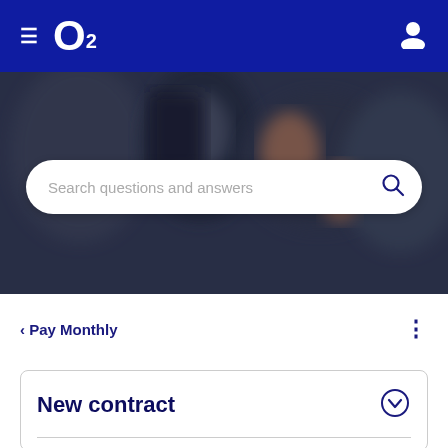≡ O₂ [user icon]
[Figure (photo): Blurred background photo of people looking at a mobile phone, with dark overlay]
Search questions and answers
< Pay Monthly ⋮
New contract